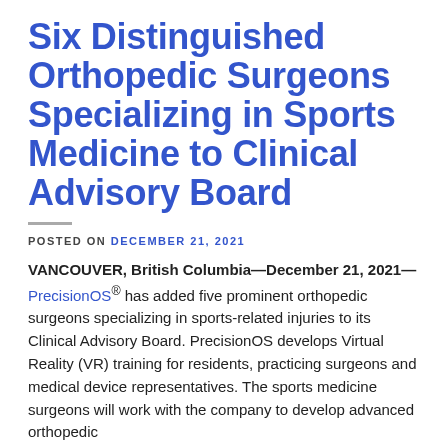Six Distinguished Orthopedic Surgeons Specializing in Sports Medicine to Clinical Advisory Board
POSTED ON DECEMBER 21, 2021
VANCOUVER, British Columbia—December 21, 2021—PrecisionOS® has added five prominent orthopedic surgeons specializing in sports-related injuries to its Clinical Advisory Board. PrecisionOS develops Virtual Reality (VR) training for residents, practicing surgeons and medical device representatives. The sports medicine surgeons will work with the company to develop advanced orthopedic